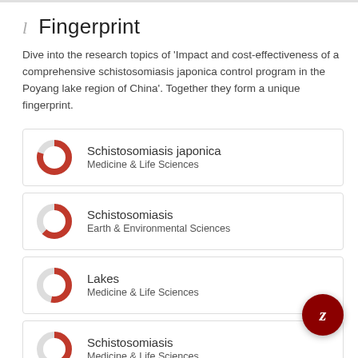Fingerprint
Dive into the research topics of 'Impact and cost-effectiveness of a comprehensive schistosomiasis japonica control program in the Poyang lake region of China'. Together they form a unique fingerprint.
Schistosomiasis japonica
Medicine & Life Sciences
Schistosomiasis
Earth & Environmental Sciences
Lakes
Medicine & Life Sciences
Schistosomiasis
Medicine & Life Sciences